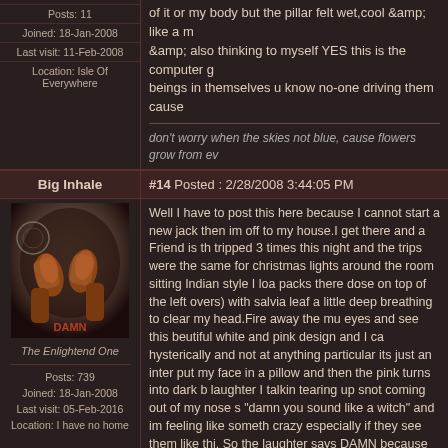Posts: 11
Joined: 18-Jan-2008
Last visit: 11-Feb-2008
Location: Isle Of Everywhere
of it or my body but the pillar felt wet,cool &amp; like a m &amp; also thinking to myself YES this is the computer g beings in themselves u know no-one driving them cause
don't worry when the skies not blue, cause flowers grow from ev
Big Inhale
#14 Posted : 2/28/2008 3:44:05 PM
[Figure (illustration): Avatar image showing raised fists with orange/red tones against a dramatic background, with a circular symbol. Title: The Enlightend One]
Posts: 739
Joined: 18-Jan-2008
Last visit: 05-Feb-2016
Location: I have no home
Well I have to post this here because I cannot start a new jack then im off to my house.I get there and a Friend is th tripped 3 times this night and the trips were the same for christmas lights around the room sitting Indian style I loa packs there dose on top of the left overs) with salvia leaf a little deep breathing to clear my head.Fire away the mu eyes and see this beutiful white and pink design and I ca hysterically and not at anything particular its just an inter put my face in a pillow and then the pink turns into dark b laughter I talkin tearing up snot coming out of my nose s "damn you sound like a witch" and im feeling like someth crazy especially if they see them like thi. So the laughter says DAMN because of all of the tears and snot. Man wh Diggeredoo song and again to Aphex Twins Mario bros t cleansed someho. So thank you all for this community a PSYCHONAUTS